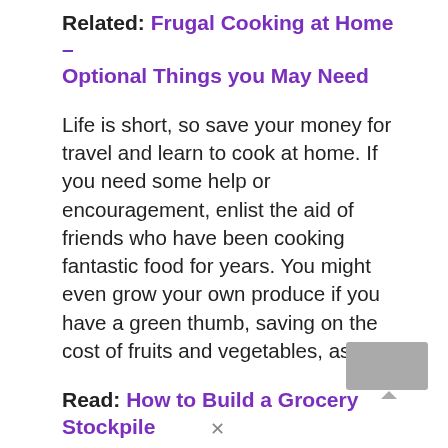Related: Frugal Cooking at Home – Optional Things you May Need
Life is short, so save your money for travel and learn to cook at home. If you need some help or encouragement, enlist the aid of friends who have been cooking fantastic food for years. You might even grow your own produce if you have a green thumb, saving on the cost of fruits and vegetables, as well.
Read: How to Build a Grocery Stockpile